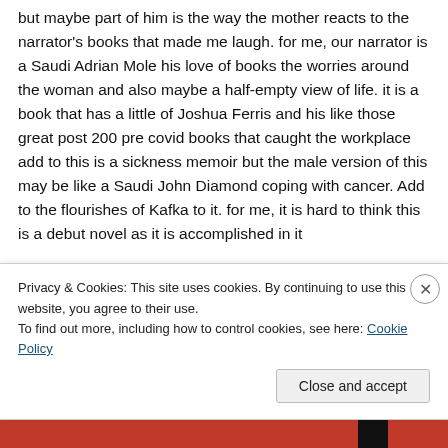but maybe part of him is the way the mother reacts to the narrator's books that made me laugh. for me, our narrator is a Saudi Adrian Mole his love of books the worries around the woman and also maybe a half-empty view of life. it is a book that has a little of Joshua Ferris and his like those great post 200 pre covid books that caught the workplace add to this is a sickness memoir but the male version of this may be like a Saudi John Diamond coping with cancer. Add to the flourishes of Kafka to it. for me, it is hard to think this is a debut novel as it is accomplished in it
Privacy & Cookies: This site uses cookies. By continuing to use this website, you agree to their use.
To find out more, including how to control cookies, see here: Cookie Policy